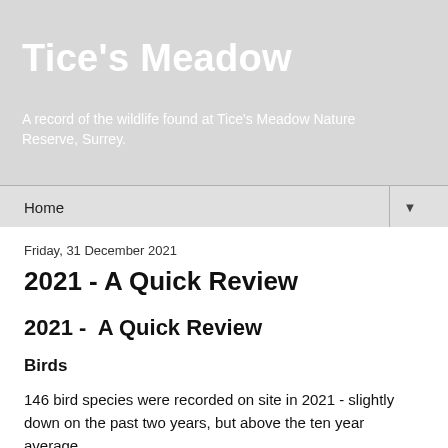Tice's Meadow
A record of the wildlife found at Tice's Meadow Nature Reserve, Surrey.
Home ▼
Friday, 31 December 2021
2021 - A Quick Review
2021 -  A Quick Review
Birds
146 bird species were recorded on site in 2021 - slightly down on the past two years, but above the ten year average.
For the first time in recent memory no new bird species for site were recorded this year - the site list remains at 201 species.